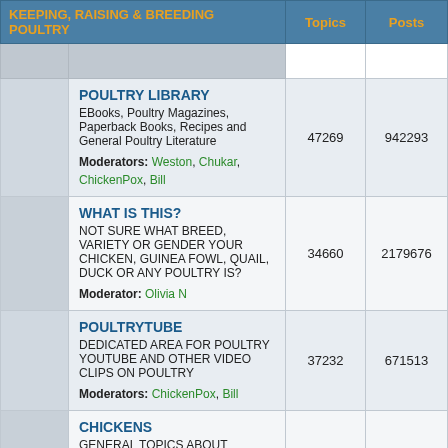| KEEPING, RAISING & BREEDING POULTRY | Topics | Posts |
| --- | --- | --- |
| POULTRY LIBRARY
EBooks, Poultry Magazines, Paperback Books, Recipes and General Poultry Literature
Moderators: Weston, Chukar, ChickenPox, Bill | 47269 | 942293 |
| WHAT IS THIS?
NOT SURE WHAT BREED, VARIETY OR GENDER YOUR CHICKEN, GUINEA FOWL, QUAIL, DUCK OR ANY POULTRY IS?
Moderator: Olivia N | 34660 | 2179676 |
| POULTRYTUBE
DEDICATED AREA FOR POULTRY YOUTUBE AND OTHER VIDEO CLIPS ON POULTRY
Moderators: ChickenPox, Bill | 37232 | 671513 |
| CHICKENS
GENERAL TOPICS ABOUT CHICKENS
Moderators: Olivia N, ChickenPox, Bill
Subforum: OTHER TOPICS | 162796 | 1582949 |
| WATERFOWL
GENERAL TOPICS ABOUT WATERFOWL | 95779 | 158947 |